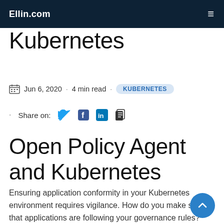Ellin.com
Kubernetes
Jun 6, 2020 · 4 min read · KUBERNETES
· Share on:
Open Policy Agent and Kubernetes
Ensuring application conformity in your Kubernetes environment requires vigilance. How do you make sure that applications are following your governance rules? How do you make sure something as simple as the proper tags are